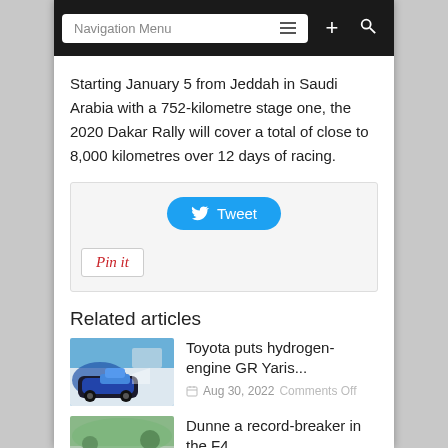Navigation Menu
Starting January 5 from Jeddah in Saudi Arabia with a 752-kilometre stage one, the 2020 Dakar Rally will cover a total of close to 8,000 kilometres over 12 days of racing.
[Figure (screenshot): Social sharing buttons: Tweet button (Twitter/blue) and Pin it button (Pinterest)]
Related articles
[Figure (photo): Photo of a rally car (Toyota GR Yaris) in action on a road with spectators]
Toyota puts hydrogen-engine GR Yaris...
Aug 30, 2022   Comments Off
[Figure (photo): Photo of a crowd at a motorsport event]
Dunne a record-breaker in the F4...